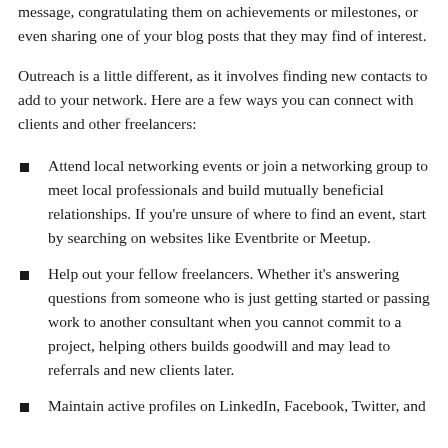message, congratulating them on achievements or milestones, or even sharing one of your blog posts that they may find of interest.
Outreach is a little different, as it involves finding new contacts to add to your network. Here are a few ways you can connect with clients and other freelancers:
Attend local networking events or join a networking group to meet local professionals and build mutually beneficial relationships. If you're unsure of where to find an event, start by searching on websites like Eventbrite or Meetup.
Help out your fellow freelancers. Whether it's answering questions from someone who is just getting started or passing work to another consultant when you cannot commit to a project, helping others builds goodwill and may lead to referrals and new clients later.
Maintain active profiles on LinkedIn, Facebook, Twitter, and